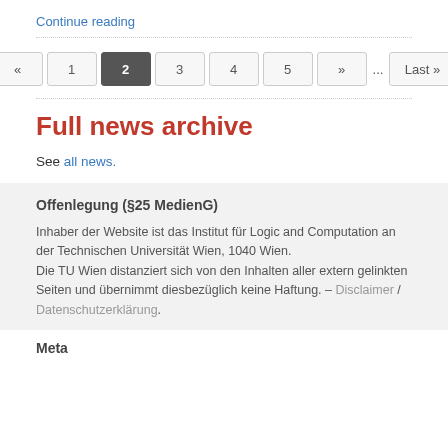Continue reading
« 1 2 3 4 5 » ... Last »
Full news archive
See all news.
Offenlegung (§25 MedienG)
Inhaber der Website ist das Institut für Logic and Computation an der Technischen Universität Wien, 1040 Wien.
Die TU Wien distanziert sich von den Inhalten aller extern gelinkten Seiten und übernimmt diesbezüglich keine Haftung. – Disclaimer / Datenschutzerklärung.
Meta